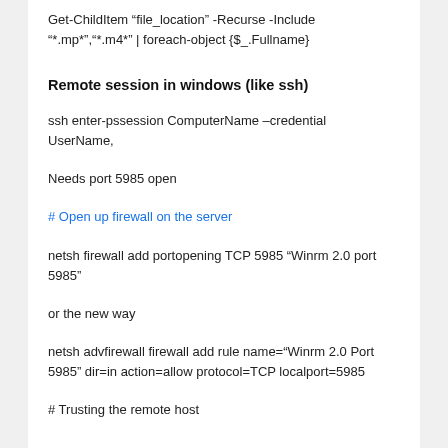Get-ChildItem "file_location" -Recurse -Include "*.mp*","*.m4*" | foreach-object {$_.Fullname}
Remote session in windows (like ssh)
ssh enter-pssession ComputerName –credential UserName,
Needs port 5985 open
# Open up firewall on the server
netsh firewall add portopening TCP 5985 “Winrm 2.0 port 5985”
or the new way
netsh advfirewall firewall add rule name="Winrm 2.0 Port 5985" dir=in action=allow protocol=TCP localport=5985
# Trusting the remote host